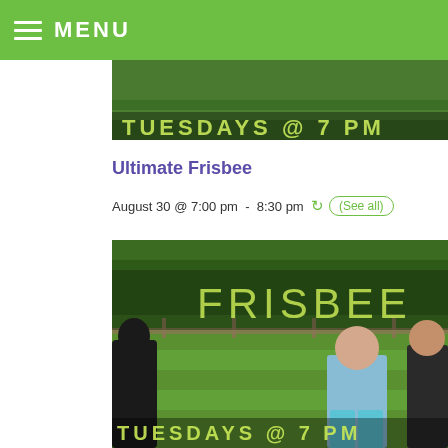MENU
[Figure (photo): Top cropped banner image showing 'TUESDAYS @ 7 PM' text on a grass field background]
Ultimate Frisbee
August 30 @ 7:00 pm - 8:30 pm (See all)
[Figure (photo): Photo of people playing Ultimate Frisbee on a grass field with 'FRISBEE' text overlay and 'TUESDAYS @ 7 PM' at the bottom]